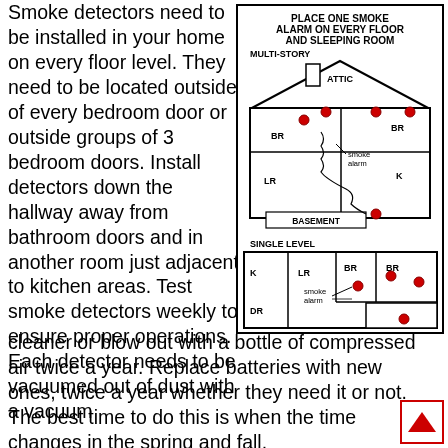Smoke detectors need to be installed in your home on every floor level. They need to be located outside of every bedroom door or outside groups of 3 bedroom doors. Install detectors down the hallway away from bathroom doors and in another room just adjacent to kitchen areas. Test smoke detectors weekly to ensure proper operations. Each detector needs to be vacuumed out of dust with a vacuum cleaner or blow out with a bottle of compressed air twice a year. Replace batteries with new ones, twice a year whether they need it or not. The best time to do this is when the time changes in the spring and fall.
[Figure (infographic): Diagram showing smoke alarm placement for multi-story and single level homes. Multi-story diagram shows a house cross-section with ATTIC, BR (bedroom), LR (living room), K (kitchen), BASEMENT labels and red smoke alarm markers. Single level diagram shows a floor plan with K, LR, BR, BR, DR, BR rooms with red smoke alarm markers and arrows pointing to 'smoke alarm' labels.]